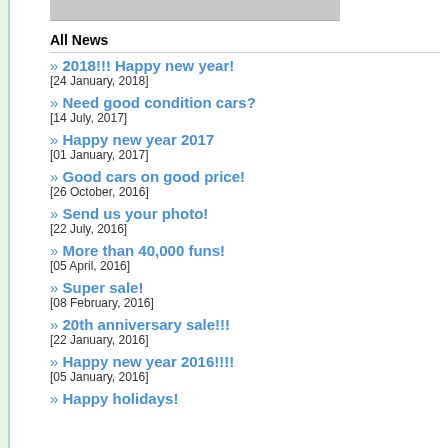[Figure (photo): Partial photo visible at top of page, cropped]
All News
» 2018!!! Happy new year!
[24 January, 2018]
» Need good condition cars?
[14 July, 2017]
» Happy new year 2017
[01 January, 2017]
» Good cars on good price!
[26 October, 2016]
» Send us your photo!
[22 July, 2016]
» More than 40,000 funs!
[05 April, 2016]
» Super sale!
[08 February, 2016]
» 20th anniversary sale!!!
[22 January, 2016]
» Happy new year 2016!!!!
[05 January, 2016]
» Happy holidays!